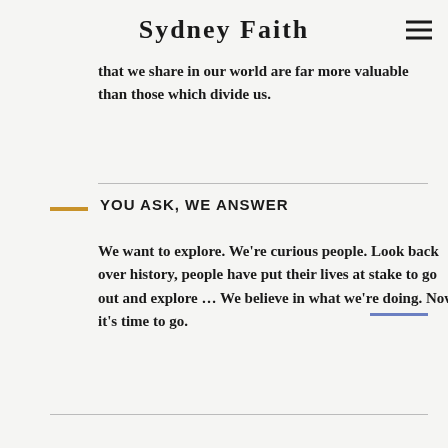Sydney Faith
that we share in our world are far more valuable than those which divide us.
YOU ASK, WE ANSWER
We want to explore. We’re curious people. Look back over history, people have put their lives at stake to go out and explore … We believe in what we’re doing. Now it’s time to go.